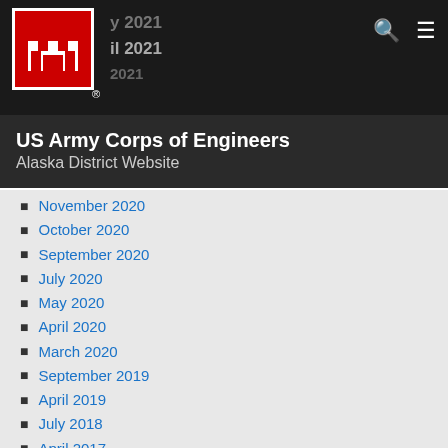US Army Corps of Engineers Alaska District Website
November 2020
October 2020
September 2020
July 2020
May 2020
April 2020
March 2020
September 2019
April 2019
July 2018
April 2017
February 2017
December 2016
September 2016
June 2016
March 2016